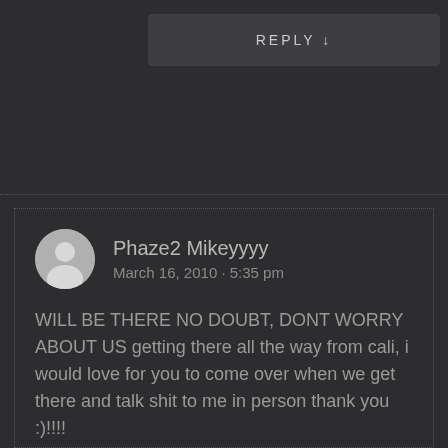REPLY ↓
Phaze2 Mikeyyyy
March 16, 2010 · 5:35 pm
WILL BE THERE NO DOUBT, DONT WORRY ABOUT US getting there all the way from cali, i would love for you to come over when we get there and talk shit to me in person thank you :)!!!!
Will be there inside so it wont